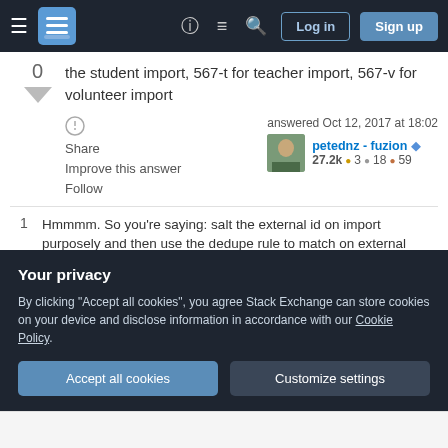Stack Exchange navigation bar with Log in and Sign up buttons
the student import, 567-t for teacher import, 567-v for volunteer import
Share Improve this answer Follow
answered Oct 12, 2017 at 18:02 petednz - fuzion ◆ 27.2k ●3 ●18 ●59
1 Hmmmm. So you're saying: salt the external id on import purposely and then use the dedupe rule to match on external identifiers for the first X digits of the field...there might be something here, depending I suppose on the range of external ID's I'm working with
Your privacy
By clicking "Accept all cookies", you agree Stack Exchange can store cookies on your device and disclose information in accordance with our Cookie Policy.
Accept all cookies   Customize settings